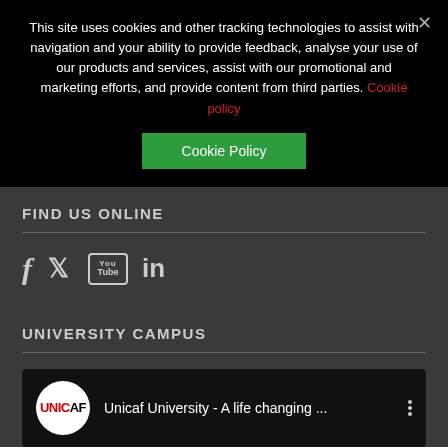This site uses cookies and other tracking technologies to assist with navigation and your ability to provide feedback, analyse your use of our products and services, assist with our promotional and marketing efforts, and provide content from third parties. Cookie policy
[Figure (other): Green Cookie Policy button]
FIND US ONLINE
[Figure (other): Social media icons: Facebook, Twitter, YouTube, LinkedIn]
UNIVERSITY CAMPUS
[Figure (screenshot): Video thumbnail showing Unicaf University logo and title 'Unicaf University - A life changing ...']